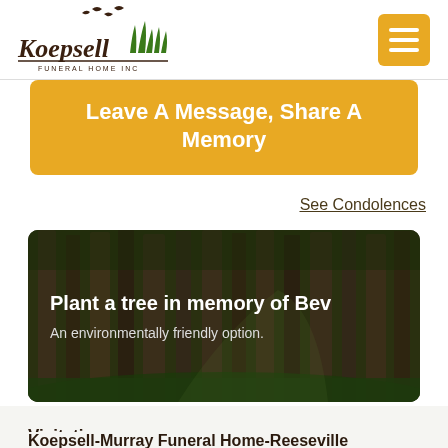[Figure (logo): Koepsell Funeral Home Inc logo with birds and grass illustration]
[Figure (other): Hamburger menu icon button in gold/orange color]
Leave A Message, Share A Memory
See Condolences
[Figure (photo): Forest of tall trees with green foliage, dark atmospheric background, overlay text about planting a tree in memory of Bev]
Visitation
Koepsell-Murray Funeral Home-Reeseville